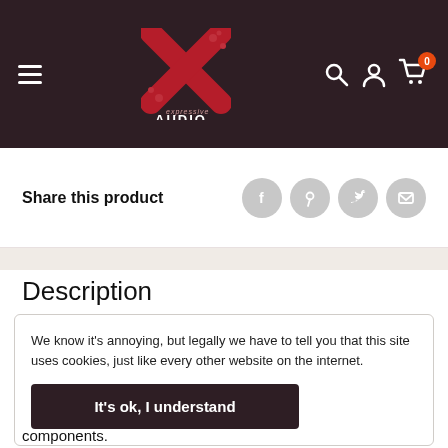[Figure (logo): Expressive Audio logo — stylized red X with dots and 'expressive AUDIO' text on dark brown background with hamburger menu, search, account, and cart icons]
Share this product
Description
We know it's annoying, but legally we have to tell you that this site uses cookies, just like every other website on the internet.
It's ok, I understand
components.